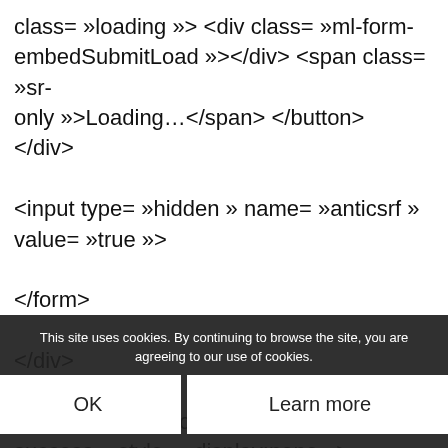class= »loading »> <div class= »ml-form-embedSubmitLoad »></div> <span class= »sr-only »>Loading…</span> </button>
</div>
<input type= »hidden » name= »anticsrf » value= »true »>
</form>
</div>
<div class= »ml-form-successBody row-success » style= »display:none »>
<div class= »ml-form-successContent »>
<h4>C est bien noté !</h4>
<p>Nous avons bien pris en compte votre demande.
</div>
</div>
This site uses cookies. By continuing to browse the site, you are agreeing to our use of cookies.